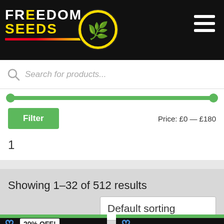[Figure (logo): Freedom Seeds logo with cannabis leaf badge on black header bar with hamburger menu icon]
Search for products...
[Figure (other): Green price range slider spanning full width]
Filter
Price: £0 — £180
1
Showing 1–32 of 512 results
Default sorting
[Figure (screenshot): Two product card previews with green top bar, heart icons, and 20% OFF badge on left card]